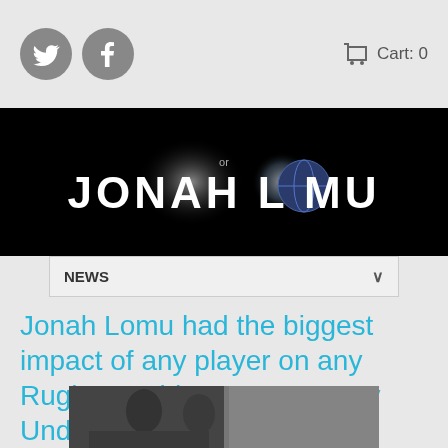[Figure (logo): Social media icons: Twitter and Facebook circle buttons]
Cart: 0
[Figure (logo): Jonah Lomu website banner with stylized text on dark background]
NEWS
Jonah Lomu had the biggest impact of any player on any Rugby World Cup, says Rory Underwood
November 18 2016, 1 Comment
[Figure (photo): Photo of rugby players on the field with crowd in background]